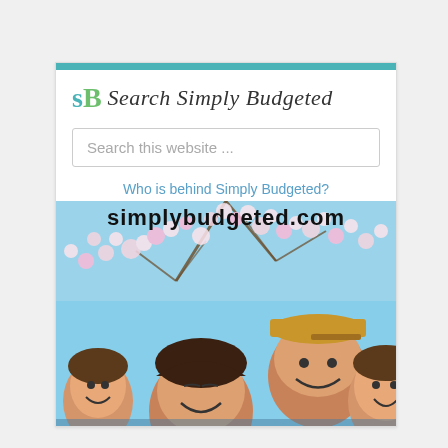[Figure (logo): sB logo mark with teal 's' and green 'B' followed by italic script text 'Search Simply Budgeted']
Search this website ...
Who is behind Simply Budgeted?
[Figure (photo): Family selfie photo from below showing four people smiling against a blue sky with white blossoming cherry tree branches. The website URL 'simplybudgeted.com' is overlaid in bold black text at the top.]